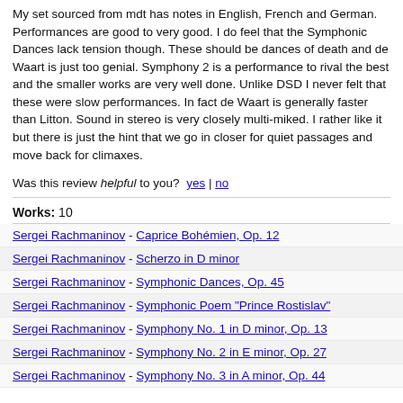My set sourced from mdt has notes in English, French and German. Performances are good to very good. I do feel that the Symphonic Dances lack tension though. These should be dances of death and de Waart is just too genial. Symphony 2 is a performance to rival the best and the smaller works are very well done. Unlike DSD I never felt that these were slow performances. In fact de Waart is generally faster than Litton. Sound in stereo is very closely multi-miked. I rather like it but there is just the hint that we go in closer for quiet passages and move back for climaxes.
Was this review helpful to you?  yes | no
Works: 10
Sergei Rachmaninov - Caprice Bohémien, Op. 12
Sergei Rachmaninov - Scherzo in D minor
Sergei Rachmaninov - Symphonic Dances, Op. 45
Sergei Rachmaninov - Symphonic Poem "Prince Rostislav"
Sergei Rachmaninov - Symphony No. 1 in D minor, Op. 13
Sergei Rachmaninov - Symphony No. 2 in E minor, Op. 27
Sergei Rachmaninov - Symphony No. 3 in A minor, Op. 44